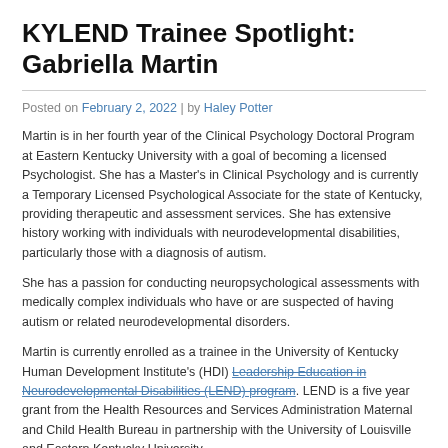KYLEND Trainee Spotlight: Gabriella Martin
Posted on February 2, 2022 | by Haley Potter
Martin is in her fourth year of the Clinical Psychology Doctoral Program at Eastern Kentucky University with a goal of becoming a licensed Psychologist. She has a Master's in Clinical Psychology and is currently a Temporary Licensed Psychological Associate for the state of Kentucky, providing therapeutic and assessment services. She has extensive history working with individuals with neurodevelopmental disabilities, particularly those with a diagnosis of autism.
She has a passion for conducting neuropsychological assessments with medically complex individuals who have or are suspected of having autism or related neurodevelopmental disorders.
Martin is currently enrolled as a trainee in the University of Kentucky Human Development Institute's (HDI) Leadership Education in Neurodevelopmental Disabilities (LEND) program. LEND is a five year grant from the Health Resources and Services Administration Maternal and Child Health Bureau in partnership with the University of Louisville and Eastern Kentucky University.